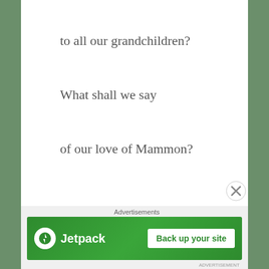to all our grandchildren?
What shall we say
of our love of Mammon?
How shall we say
we somehow lost their planet?
How shall we say